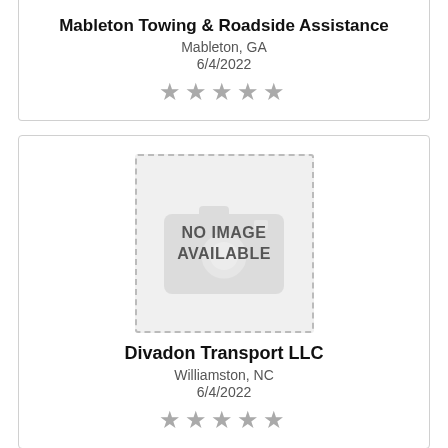Mableton Towing & Roadside Assistance
Mableton, GA
6/4/2022
[Figure (other): Five grey star rating (empty stars)]
[Figure (other): No Image Available placeholder with dashed border and faded camera icon]
Divadon Transport LLC
Williamston, NC
6/4/2022
[Figure (other): Five grey star rating (empty stars)]